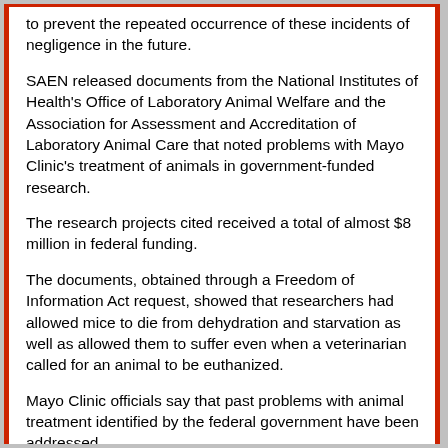to prevent the repeated occurrence of these incidents of negligence in the future.
SAEN released documents from the National Institutes of Health's Office of Laboratory Animal Welfare and the Association for Assessment and Accreditation of Laboratory Animal Care that noted problems with Mayo Clinic's treatment of animals in government-funded research.
The research projects cited received a total of almost $8 million in federal funding.
The documents, obtained through a Freedom of Information Act request, showed that researchers had allowed mice to die from dehydration and starvation as well as allowed them to suffer even when a veterinarian called for an animal to be euthanized.
Mayo Clinic officials say that past problems with animal treatment identified by the federal government have been addressed.
“Mayo Clinic has responded successfully to all of the questions raised by AAALAC and has taken steps through education, training and facilities modification to ensure animals are safe and managed humanely in all respects,” responded Mayo Clinic Spokesman Bob Nellis.
NIH’s Office of Laboratory Animal Welfare did have Mayo Clinic on an "enhanced reporting schedule" to